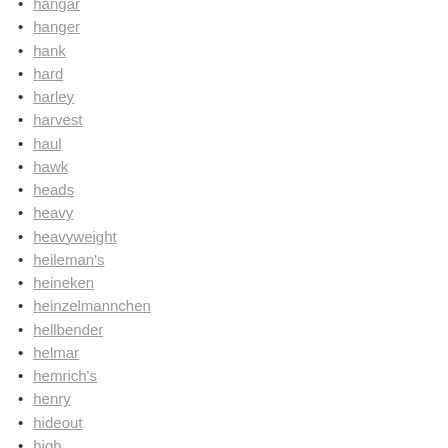hangar
hanger
hank
hard
harley
harvest
haul
hawk
heads
heavy
heavyweight
heileman's
heineken
heinzelmannchen
hellbender
helmar
hemrich's
henry
hideout
high
highball